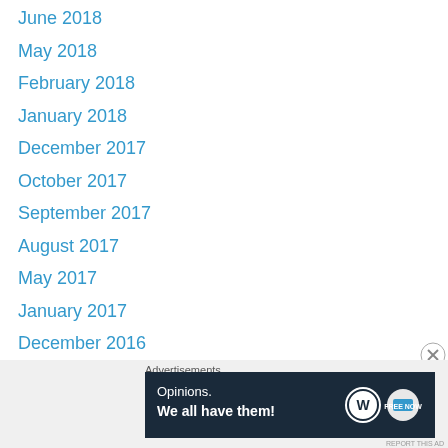June 2018
May 2018
February 2018
January 2018
December 2017
October 2017
September 2017
August 2017
May 2017
January 2017
December 2016
August 2016
June 2016
May 2016
April 2016
March 2016
February 2016
[Figure (other): WordPress advertisement banner: 'Opinions. We all have them!' with WordPress and blog logo icons on dark navy background]